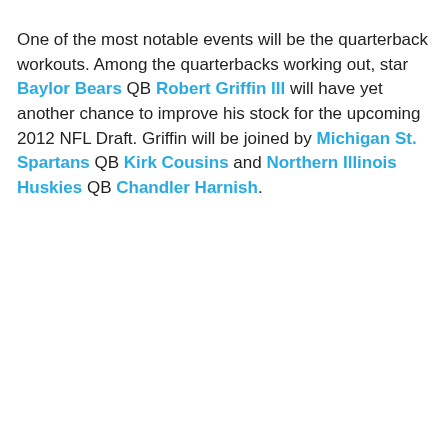One of the most notable events will be the quarterback workouts. Among the quarterbacks working out, star Baylor Bears QB Robert Griffin III will have yet another chance to improve his stock for the upcoming 2012 NFL Draft. Griffin will be joined by Michigan St. Spartans QB Kirk Cousins and Northern Illinois Huskies QB Chandler Harnish.